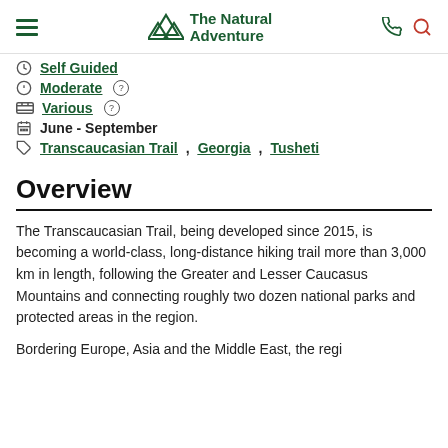The Natural Adventure
Self Guided
Moderate
Various
June - September
Transcaucasian Trail, Georgia, Tusheti
Overview
The Transcaucasian Trail, being developed since 2015, is becoming a world-class, long-distance hiking trail more than 3,000 km in length, following the Greater and Lesser Caucasus Mountains and connecting roughly two dozen national parks and protected areas in the region.
Bordering Europe, Asia and the Middle East, the region...